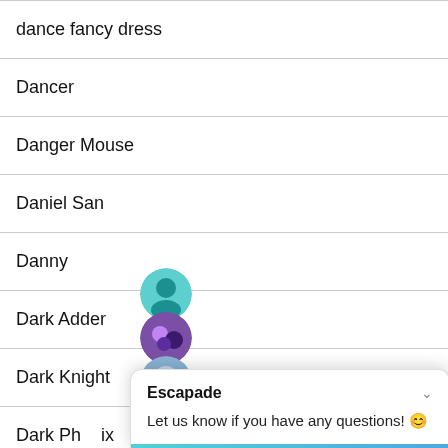dance fancy dress
Dancer
Danger Mouse
Daniel San
Danny
Dark Adder
Dark Knight
Dark Phoenix
Darth Vader
[Figure (screenshot): Chat widget overlay with title 'Escapade' and message 'Let us know if you have any questions! 😊', with avatar icons stacked on the left side]
Escapade
Let us know if you have any questions! 😊